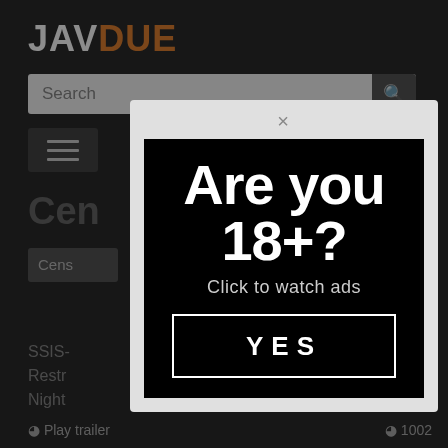JAVDUE
Search
[Figure (screenshot): Age verification modal dialog on JAVDUE website with 'Are you 18+?' headline, 'Click to watch ads' subtext, and YES button]
Are you 18+?
Click to watch ads
YES
SSIS-
Restr
Night
One
⊙ Play trailer
⊙ 1002